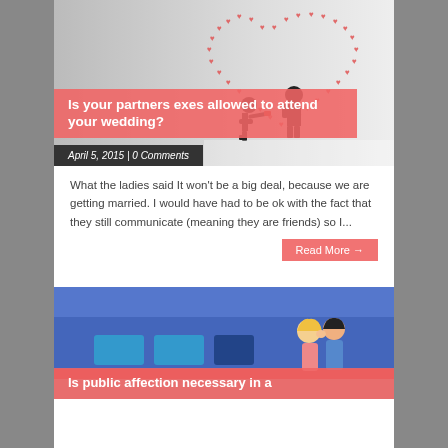[Figure (illustration): Illustration of a person proposing with hearts in the background on a light grey backdrop]
Is your partners exes allowed to attend your wedding?
April 5, 2015 | 0 Comments
What the ladies said It won't be a big deal, because we are getting married. I would have had to be ok with the fact that they still communicate (meaning they are friends) so I...
Read More →
[Figure (illustration): Illustration of a couple kissing near a blue train]
Is public affection necessary in a